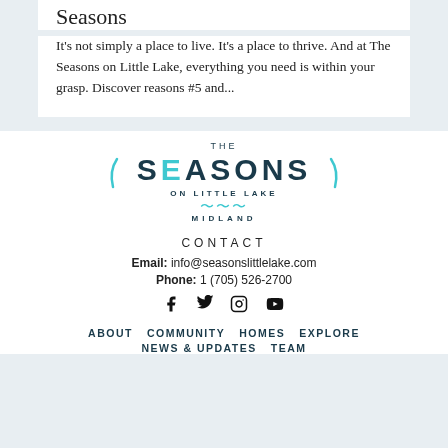Seasons
It's not simply a place to live. It's a place to thrive. And at The Seasons on Little Lake, everything you need is within your grasp. Discover reasons #5 and...
[Figure (logo): The Seasons on Little Lake Midland logo with stylized text and wave graphic]
CONTACT
Email: info@seasonslittlelake.com
Phone: 1 (705) 526-2700
[Figure (other): Social media icons: Facebook, Twitter, Instagram, YouTube]
ABOUT   COMMUNITY   HOMES   EXPLORE   NEWS & UPDATES   TEAM